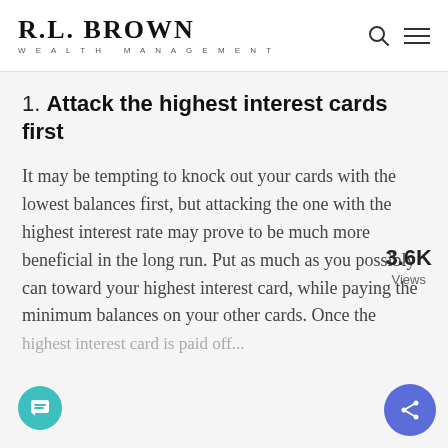R.L. BROWN WEALTH MANAGEMENT
1. Attack the highest interest cards first
It may be tempting to knock out your cards with the lowest balances first, but attacking the one with the highest interest rate may prove to be much more beneficial in the long run. Put as much as you possibly can toward your highest interest card, while paying the minimum balances on your other cards. Once the highest interest card is paid off...
3.6K Views